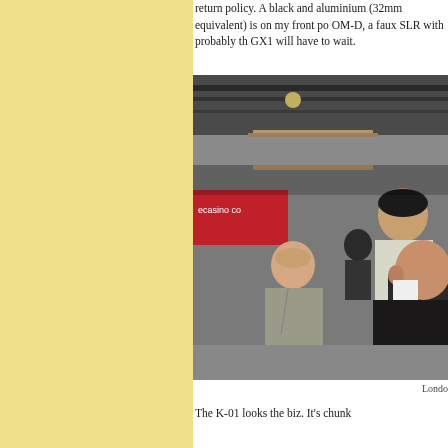return policy. A black and aluminium (32mm equivalent) is on my front po... OM-D, a faux SLR with probably th... GX1 will have to wait.
[Figure (photo): Street photography scene showing people on a busy street, with a casino sign visible in the background. Three men visible in the foreground, taken in London.]
Londo...
The K-01 looks the biz. It's chunkv...